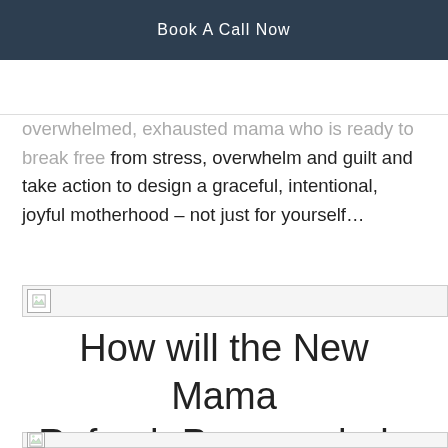Book A Call Now
overwhelmed, exhausted mama who is ready to break free from stress, overwhelm and guilt and take action to design a graceful, intentional, joyful motherhood – not just for yourself…
[Figure (photo): Broken/missing image placeholder]
How will the New Mama Refresh Program help you?
[Figure (photo): Broken/missing image placeholder]